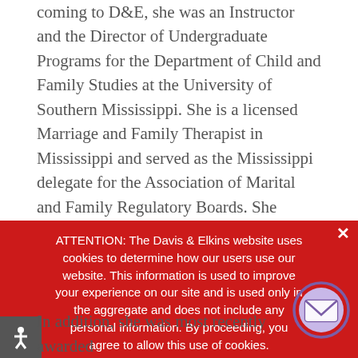coming to D&E, she was an Instructor and the Director of Undergraduate Programs for the Department of Child and Family Studies at the University of Southern Mississippi. She is a licensed Marriage and Family Therapist in Mississippi and served as the Mississippi delegate for the Association of Marital and Family Regulatory Boards. She was appointed by the governor of Mississippi to serve on the Mississippi Board of Licensure for Professional Counselors and Marriage and Family Therapists and has served on this Board. She also serves on the Marriage and Family Therapy Task Specific Committee.
ATTENTION: The Davis & Elkins website uses cookies to determine how our users use our website. This information is used to improve your experience on our site and is used only in the aggregate and does not include any personal information. By proceeding, you agree to allow this use of cookies.
In addition, she was most recently awarded